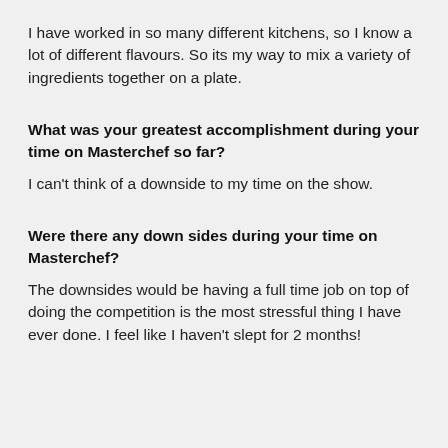I have worked in so many different kitchens, so I know a lot of different flavours. So its my way to mix a variety of ingredients together on a plate.
What was your greatest accomplishment during your time on Masterchef so far?
I can't think of a downside to my time on the show.
Were there any down sides during your time on Masterchef?
The downsides would be having a full time job on top of doing the competition is the most stressful thing I have ever done. I feel like I haven't slept for 2 months!